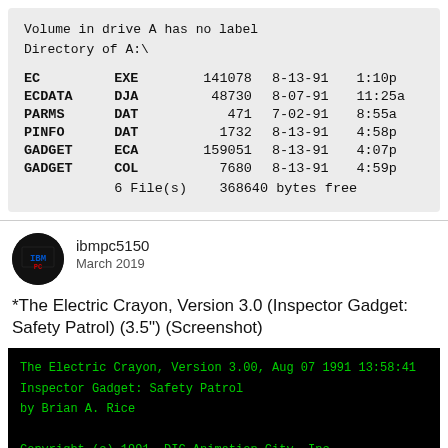| Name | Ext | Size | Date | Time |
| --- | --- | --- | --- | --- |
| EC | EXE | 141078 | 8-13-91 | 1:10p |
| ECDATA | DJA | 48730 | 8-07-91 | 11:25a |
| PARMS | DAT | 471 | 7-02-91 | 8:55a |
| PINFO | DAT | 1732 | 8-13-91 | 4:58p |
| GADGET | ECA | 159051 | 8-13-91 | 4:07p |
| GADGET | COL | 7680 | 8-13-91 | 4:59p |
|  |  | 6 File(s) | 368640 bytes free |  |
ibmpc5150
March 2019
*The Electric Crayon, Version 3.0 (Inspector Gadget: Safety Patrol) (3.5") (Screenshot)
[Figure (screenshot): Black background terminal screenshot showing: 'The Electric Crayon, Version 3.00, Aug 07 1991 13:58:41', 'Inspector Gadget: Safety Patrol', 'by Brian A. Rice', and partial copyright line 'Copyright (c) 1991, DIC Animation City, Inc.']